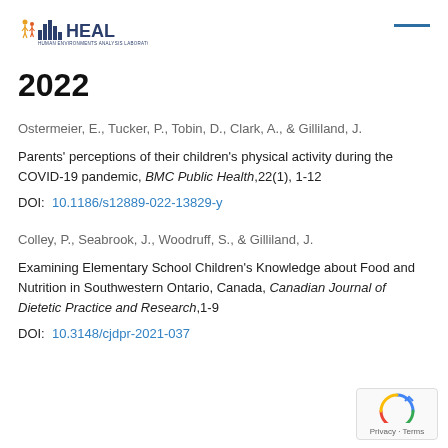[Figure (logo): HEAL Human Environments Analysis Laboratory logo with city skyline icon and people figures]
2022
Ostermeier, E., Tucker, P., Tobin, D., Clark, A., & Gilliland, J.
Parents' perceptions of their children's physical activity during the COVID-19 pandemic, BMC Public Health,22(1), 1-12
DOI: 10.1186/s12889-022-13829-y
Colley, P., Seabrook, J., Woodruff, S., & Gilliland, J.
Examining Elementary School Children's Knowledge about Food and Nutrition in Southwestern Ontario, Canada, Canadian Journal of Dietetic Practice and Research,1-9
DOI: 10.3148/cjdpr-2021-037